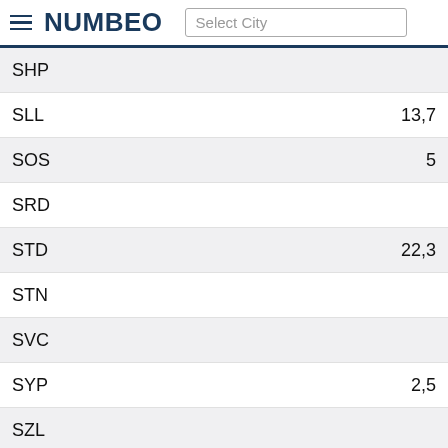NUMBEO — Select City
| Currency | Value |
| --- | --- |
| SHP |  |
| SLL | 13,7 |
| SOS | 5 |
| SRD |  |
| STD | 22,3 |
| STN |  |
| SVC |  |
| SYP | 2,5 |
| SZL |  |
| THB |  |
| TJS |  |
| TMT |  |
| TND |  |
| TOP |  |
| TRY |  |
| TTD |  |